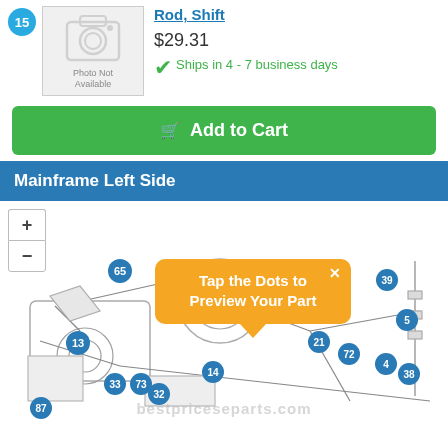Rod, Shift
$29.31
Ships in 4 - 7 business days
Add to Cart
Mainframe Left Side
[Figure (engineering-diagram): Mainframe Left Side parts diagram with numbered dots (65, 39, 5, 21, 72, 4, 38, 13, 33, 73, 32, 14, 87) indicating part locations on a mechanical assembly. Features zoom controls and a tooltip overlay reading 'Tap the Dots to Preview Your Part'.]
bestpriceseparts.com